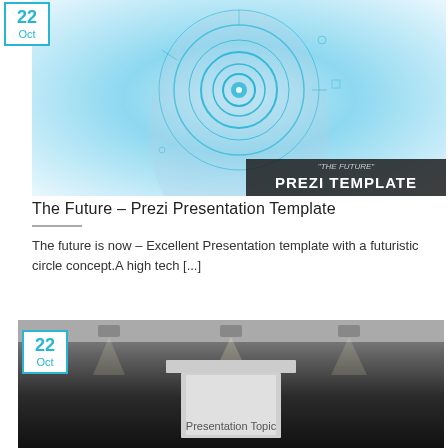[Figure (photo): Futuristic image of a person touching a holographic circular interface with teal/blue glowing rings, showing 'THE FUTURE' Prezi Template branding in bottom right]
The Future – Prezi Presentation Template
The future is now – Excellent Presentation template with a futuristic circle concept.A high tech [...]
[Figure (photo): Dark stage with spotlights and a podium/lectern in center, showing 'Presentation Topic' text on the podium]